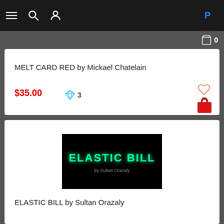Navigation bar with menu, search, user, and logo icons
MELT CARD RED by Mickael Chatelain
$35.00  ♦ 3
[Figure (screenshot): ELASTIC BILL product thumbnail — black background with green neon-style text reading 'ELASTIC BILL' and small subtitle 'by Sultan Orazaly']
ELASTIC BILL by Sultan Orazaly